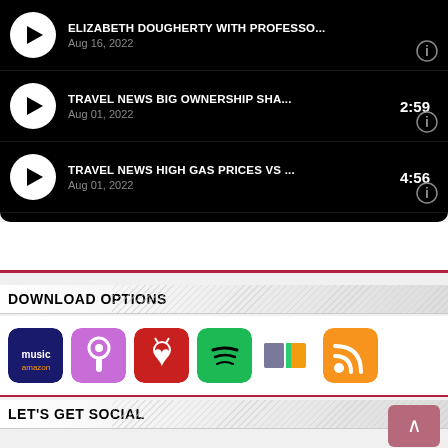[Figure (screenshot): Podcast playlist UI on black background showing four podcast items with play buttons, titles, dates, and durations. Items: 'Elizabeth Dougherty with Professo...' Aug 16 2022; 'TRAVEL NEWS BIG OWNERSHIP SHA...' Aug 01 2022 2:59; 'TRAVEL NEWS HIGH GAS PRICES VS...' Aug 01 2022 4:56; 'TRAVEL NEWS ANOTHER SECURITY...' Aug 01 2022 4:59]
DOWNLOAD OPTIONS
[Figure (infographic): Row of podcast/music app icons: Amazon Music, Apple Podcasts, iHeartRadio, Spotify, Podbean, RSS Feed]
LET'S GET SOCIAL